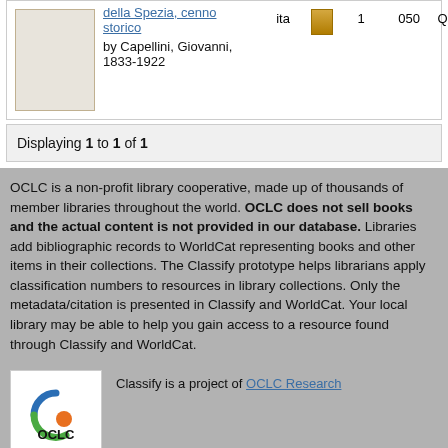|  | Title | Lang | Icon | Count | 050 | Class |
| --- | --- | --- | --- | --- | --- | --- |
|  | della Spezia, cenno storico by Capellini, Giovanni, 1833-1922 | ita | [book icon] | 1 | 050 | QE272 |
Displaying 1 to 1 of 1
OCLC is a non-profit library cooperative, made up of thousands of member libraries throughout the world. OCLC does not sell books and the actual content is not provided in our database. Libraries add bibliographic records to WorldCat representing books and other items in their collections. The Classify prototype helps librarians apply classification numbers to resources in library collections. Only the metadata/citation is presented in Classify and WorldCat. Your local library may be able to help you gain access to a resource found through Classify and WorldCat.
[Figure (logo): OCLC logo with circular arc design in blue, green, and orange, with OCLC text below]
Classify is a project of OCLC Research